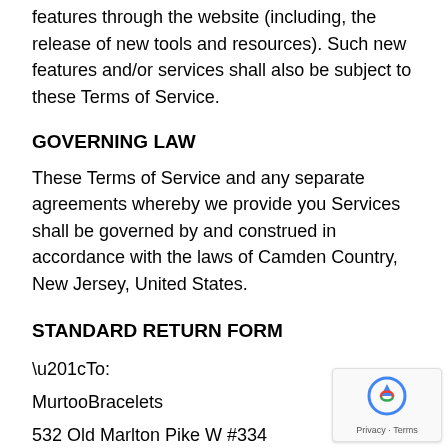features through the website (including, the release of new tools and resources). Such new features and/or services shall also be subject to these Terms of Service.
GOVERNING LAW
These Terms of Service and any separate agreements whereby we provide you Services shall be governed by and construed in accordance with the laws of Camden Country, New Jersey, United States.
STANDARD RETURN FORM
“To:
MurtooBracelets

532 Old Marlton Pike W #334

Marlton NJ 08053

United States